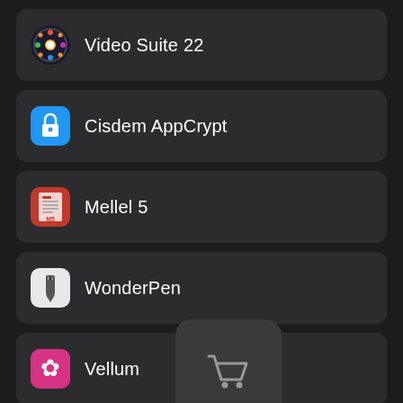Video Suite 22
Cisdem AppCrypt
Mellel 5
WonderPen
Vellum
Kee
[Figure (screenshot): Shopping cart popup icon overlay on the last list item row]